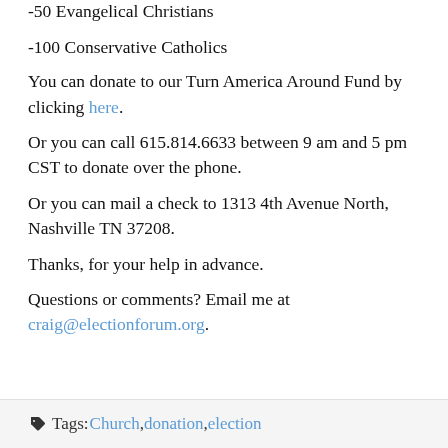-50 Evangelical Christians
-100 Conservative Catholics
You can donate to our Turn America Around Fund by clicking here.
Or you can call 615.814.6633 between 9 am and 5 pm CST to donate over the phone.
Or you can mail a check to 1313 4th Avenue North, Nashville TN 37208.
Thanks, for your help in advance.
Questions or comments? Email me at craig@electionforum.org.
Tags: Church, donation, election